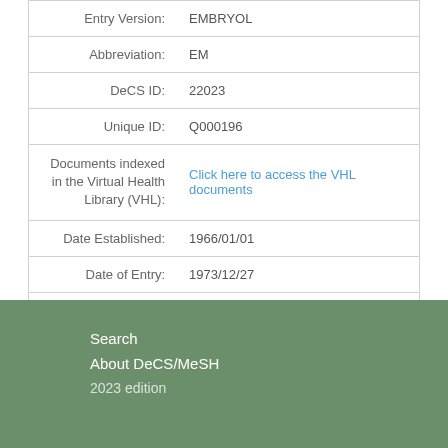| Field | Value |
| --- | --- |
| Entry Version: | EMBRYOL |
| Abbreviation: | EM |
| DeCS ID: | 22023 |
| Unique ID: | Q000196 |
| Documents indexed in the Virtual Health Library (VHL): | Click here to access the VHL documents |
| Date Established: | 1966/01/01 |
| Date of Entry: | 1973/12/27 |
| Revision Date: | 2003/07/24 |
Search
About DeCS/MeSH
2023 edition